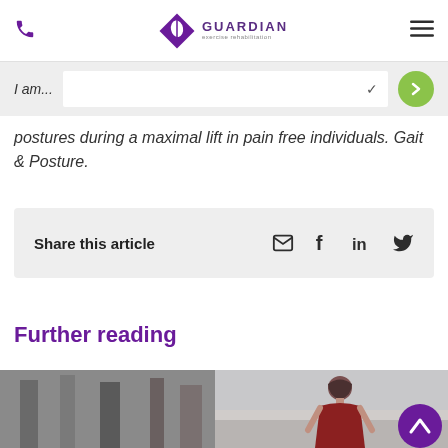Guardian Exercise Rehabilitation — navigation header with phone, logo, and menu
I am...
postures during a maximal lift in pain free individuals. Gait & Posture.
Share this article
Further reading
[Figure (photo): Photo strip showing two images: left image of a person at gym equipment, right image of a woman looking down outdoors]